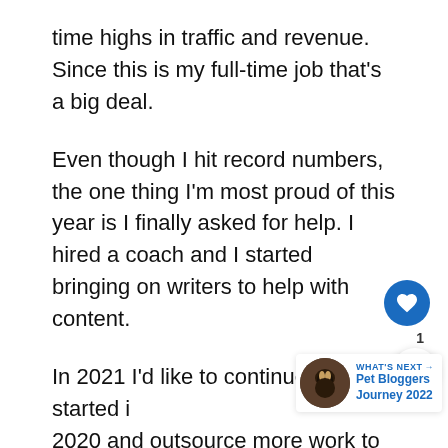time highs in traffic and revenue. Since this is my full-time job that's a big deal.
Even though I hit record numbers, the one thing I'm most proud of this year is I finally asked for help. I hired a coach and I started bringing on writers to help with content.
In 2021 I'd like to continue what I started in 2020 and outsource more work to help with Pinterest, graphic design, content media, scheduling, etc.